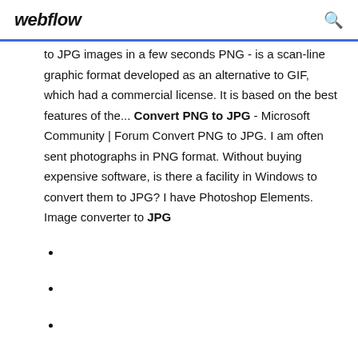webflow
to JPG images in a few seconds PNG - is a scan-line graphic format developed as an alternative to GIF, which had a commercial license. It is based on the best features of the... Convert PNG to JPG - Microsoft Community | Forum Convert PNG to JPG. I am often sent photographs in PNG format. Without buying expensive software, is there a facility in Windows to convert them to JPG? I have Photoshop Elements. Image converter to JPG